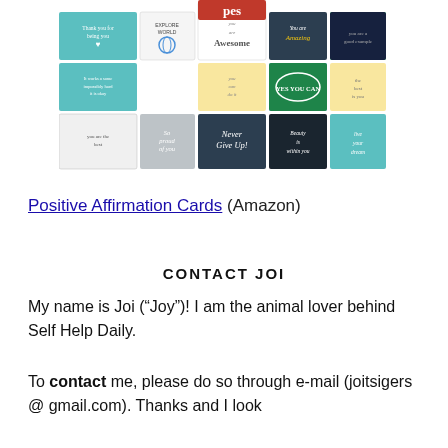[Figure (illustration): A collage of colorful positive affirmation cards with motivational messages such as 'You are Amazing', 'Yes You Can', 'Never Give Up', 'Have a Nice Day', 'So Proud of You', 'You are Awesome', 'Explore the World', 'Thank you for being you', and others.]
Positive Affirmation Cards (Amazon)
CONTACT JOI
My name is Joi ("Joy")! I am the animal lover behind Self Help Daily.
To contact me, please do so through e-mail (joitsigers @ gmail.com). Thanks and I look